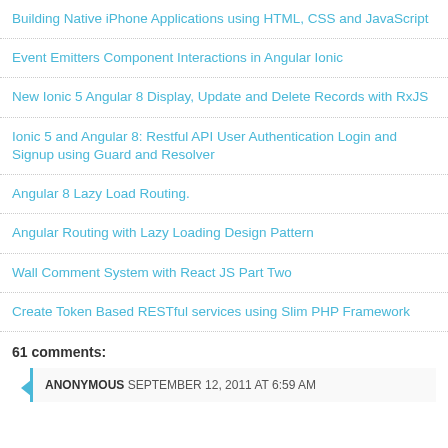Building Native iPhone Applications using HTML, CSS and JavaScript
Event Emitters Component Interactions in Angular Ionic
New Ionic 5 Angular 8 Display, Update and Delete Records with RxJS
Ionic 5 and Angular 8: Restful API User Authentication Login and Signup using Guard and Resolver
Angular 8 Lazy Load Routing.
Angular Routing with Lazy Loading Design Pattern
Wall Comment System with React JS Part Two
Create Token Based RESTful services using Slim PHP Framework
61 comments:
ANONYMOUS SEPTEMBER 12, 2011 AT 6:59 AM